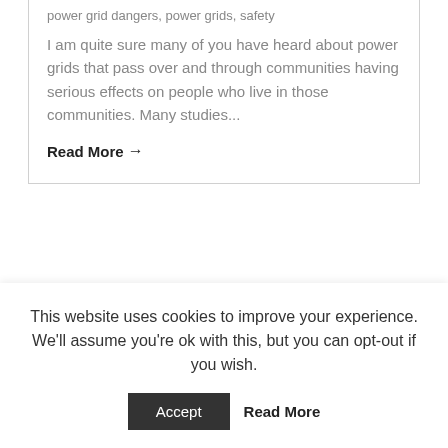power grid dangers, power grids, safety
I am quite sure many of you have heard about power grids that pass over and through communities having serious effects on people who live in those communities. Many studies...
Read More →
This website uses cookies to improve your experience. We'll assume you're ok with this, but you can opt-out if you wish.
Accept  Read More